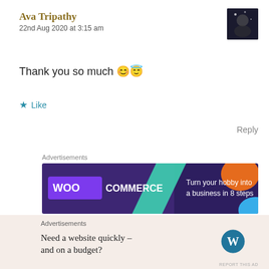Ava Tripathy
22nd Aug 2020 at 3:15 am
Thank you so much 😊😇
★ Like
Reply
Advertisements
[Figure (other): WooCommerce advertisement banner: Turn your hobby into a business in 8 steps]
REPORT THIS AD
Advertisements
Need a website quickly – and on a budget?
REPORT THIS AD